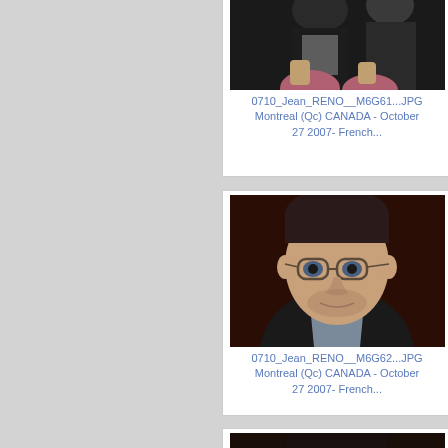[Figure (photo): Partial photo card showing top portion of two people seated, with caption: 0710_Jean_RENO__M6G61...JPG Montreal (Qc) CANADA - October 27 2007- French...]
0710_Jean_RENO__M6G61...JPG Montreal (Qc) CANADA - October 27 2007- French...
[Figure (photo): Portrait photo of a middle-aged man with glasses and short dark hair wearing a dark jacket, with caption: 0710_Jean_RENO__M6G62...JPG Montreal (Qc) CANADA - October 27 2007- French...]
0710_Jean_RENO__M6G62...JPG Montreal (Qc) CANADA - October 27 2007- French...
[Figure (photo): Partial third photo card at bottom of page, showing top of a person's head]